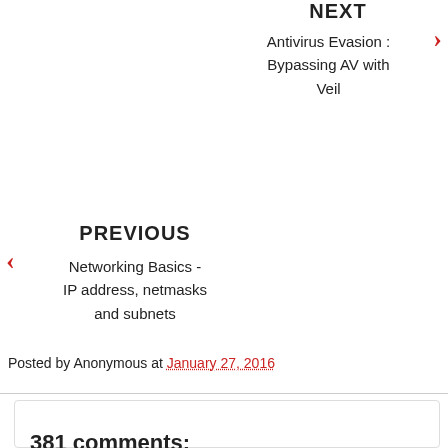NEXT
Antivirus Evasion : Bypassing AV with Veil
PREVIOUS
Networking Basics - IP address, netmasks and subnets
Posted by Anonymous at January 27, 2016
381 comments: